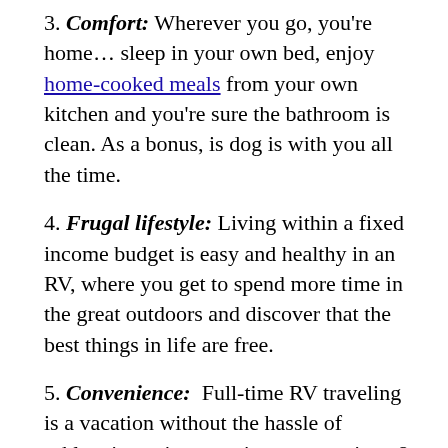3. Comfort: Wherever you go, you're home… sleep in your own bed, enjoy home-cooked meals from your own kitchen and you're sure the bathroom is clean. As a bonus, is dog is with you all the time.
4. Frugal lifestyle: Living within a fixed income budget is easy and healthy in an RV, where you get to spend more time in the great outdoors and discover that the best things in life are free.
5. Convenience: Full-time RV traveling is a vacation without the hassle of schlepping suitcases, airport screenings & delays, rental cars and, oops I forgot my toothbrush.